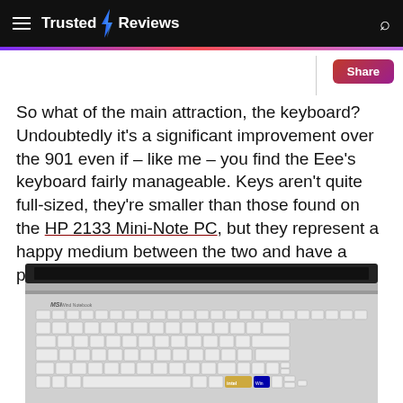Trusted Reviews
So what of the main attraction, the keyboard? Undoubtedly it's a significant improvement over the 901 even if – like me – you find the Eee's keyboard fairly manageable. Keys aren't quite full-sized, they're smaller than those found on the HP 2133 Mini-Note PC, but they represent a happy medium between the two and have a pleasing degree of travel and response.
[Figure (photo): Close-up photo of an MSI Wind Notebook keyboard, showing full QWERTY layout with silver/white keys on a silver body, viewed from a slightly elevated angle.]